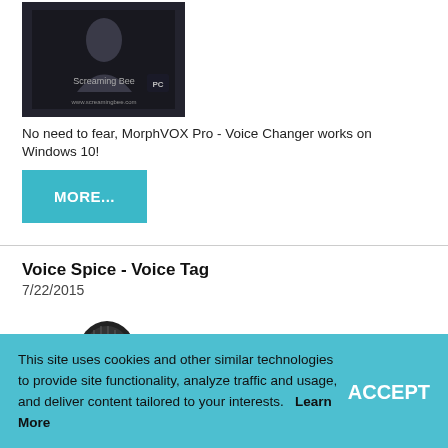[Figure (photo): Screaming Bee MorphVOX Pro product box image on dark background with PC logo]
No need to fear, MorphVOX Pro - Voice Changer works on Windows 10!
MORE...
Voice Spice - Voice Tag
7/22/2015
[Figure (illustration): Hand holding a microphone with text 'You're It!' in bold lettering]
This site uses cookies and other similar technologies to provide site functionality, analyze traffic and usage, and deliver content tailored to your interests.    Learn More
ACCEPT